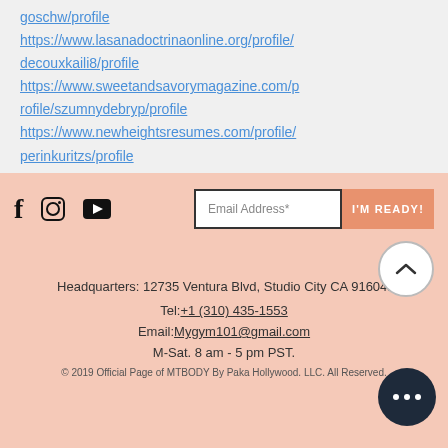goschw/profile
https://www.lasanadoctrinaonline.org/profile/decouxkaili8/profile
https://www.sweetandsavorymagazine.com/profile/szumnydebryp/profile
https://www.newheightsresumes.com/profile/perinkuritzs/profile
[Figure (screenshot): Website footer with social media icons (Facebook, Instagram, YouTube), email signup field with 'Email Address*' placeholder and 'I'M READY!' button, contact information including headquarters address at 12735 Ventura Blvd Studio City CA 91604, telephone +1 (310) 435-1553, email Mygym101@gmail.com, hours M-Sat. 8 am - 5 pm PST, copyright notice, scroll-up button, and more options button]
Headquarters: 12735 Ventura Blvd, Studio City CA 91604.
Tel:+1 (310) 435-1553
Email:Mygym101@gmail.com
M-Sat. 8 am - 5 pm PST.
© 2019 Official Page of MTBODY By Paka Hollywood. LLC. All Reserved.